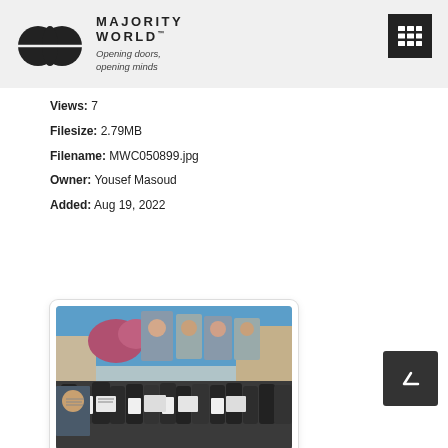MAJORITY WORLD™ — Opening doors, opening minds
Views: 7
Filesize: 2.79MB
Filename: MWC050899.jpg
Owner: Yousef Masoud
Added: Aug 19, 2022
[Figure (photo): A crowd of people, including children, holding protest signs with Arabic text and large portrait placards/banners showing faces of individuals, gathered outdoors under a blue sky with pink flowering plants visible in the background.]